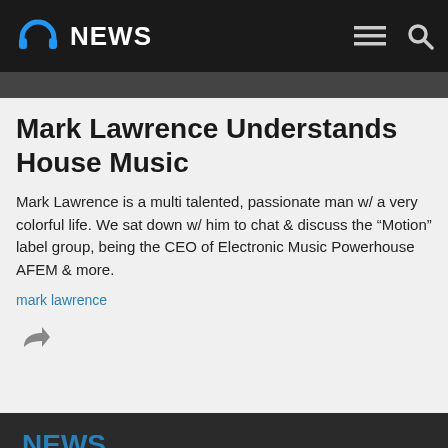NEWS
Mark Lawrence Understands House Music
Mark Lawrence is a multi talented, passionate man w/ a very colorful life. We sat down w/ him to chat & discuss the “Motion” label group, being the CEO of Electronic Music Powerhouse AFEM & more.
mark lawrence
NEWS
Latest News